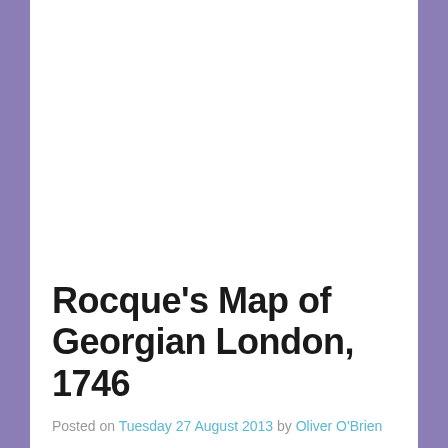Rocque's Map of Georgian London, 1746
Posted on Tuesday 27 August 2013 by Oliver O'Brien
Mapping London has always been most interested in moder [...]